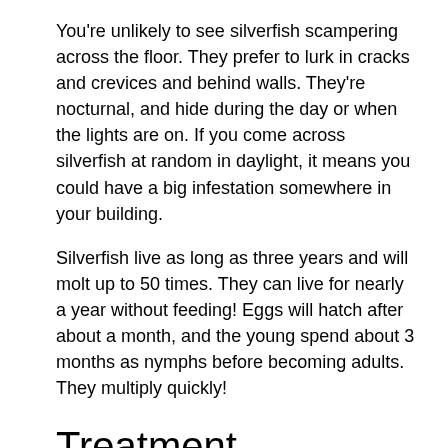You're unlikely to see silverfish scampering across the floor. They prefer to lurk in cracks and crevices and behind walls. They're nocturnal, and hide during the day or when the lights are on. If you come across silverfish at random in daylight, it means you could have a big infestation somewhere in your building.
Silverfish live as long as three years and will molt up to 50 times. They can live for nearly a year without feeding! Eggs will hatch after about a month, and the young spend about 3 months as nymphs before becoming adults. They multiply quickly!
Treatment
Use sticky traps to monitor for a silverfish infestation. They can help you locate where the pests are entering an area, and help you keep track of the success of your preventative measures. You can also identify an infestation by looking for small dark frass, yellow stains, scales and the telltale signs of damage on